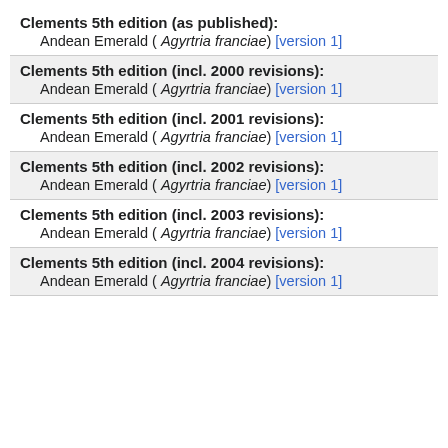Clements 5th edition (as published):
Andean Emerald ( Agyrtria franciae) [version 1]
Clements 5th edition (incl. 2000 revisions):
Andean Emerald ( Agyrtria franciae) [version 1]
Clements 5th edition (incl. 2001 revisions):
Andean Emerald ( Agyrtria franciae) [version 1]
Clements 5th edition (incl. 2002 revisions):
Andean Emerald ( Agyrtria franciae) [version 1]
Clements 5th edition (incl. 2003 revisions):
Andean Emerald ( Agyrtria franciae) [version 1]
Clements 5th edition (incl. 2004 revisions):
Andean Emerald ( Agyrtria franciae) [version 1]